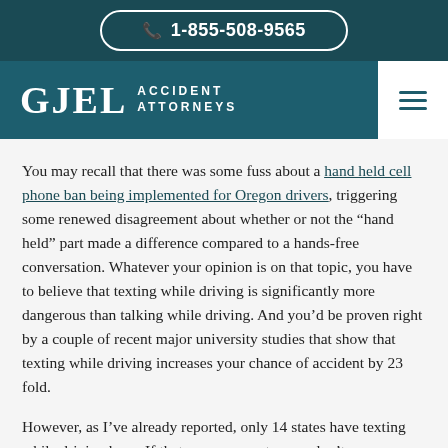1-855-508-9565
GJEL ACCIDENT ATTORNEYS
You may recall that there was some fuss about a hand held cell phone ban being implemented for Oregon drivers, triggering some renewed disagreement about whether or not the “hand held” part made a difference compared to a hands-free conversation. Whatever your opinion is on that topic, you have to believe that texting while driving is significantly more dangerous than talking while driving. And you’d be proven right by a couple of recent major university studies that show that texting while driving increases your chance of accident by 23 fold.
However, as I’ve already reported, only 14 states have texting while driving bans. If that seems crazy to you, don’t